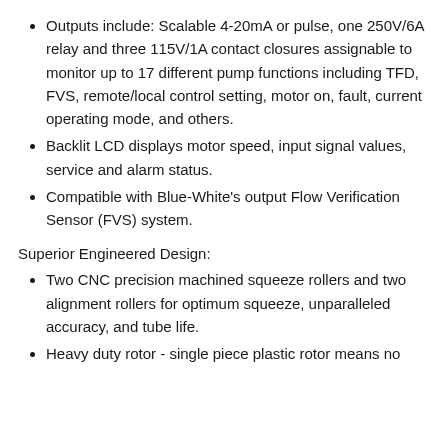Outputs include: Scalable 4-20mA or pulse, one 250V/6A relay and three 115V/1A contact closures assignable to monitor up to 17 different pump functions including TFD, FVS, remote/local control setting, motor on, fault, current operating mode, and others.
Backlit LCD displays motor speed, input signal values, service and alarm status.
Compatible with Blue-White's output Flow Verification Sensor (FVS) system.
Superior Engineered Design:
Two CNC precision machined squeeze rollers and two alignment rollers for optimum squeeze, unparalleled accuracy, and tube life.
Heavy duty rotor - single piece plastic rotor means no